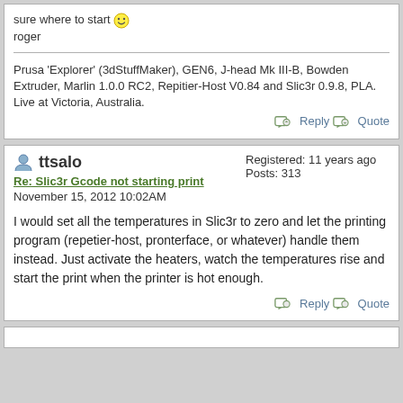sure where to start 🙂
roger
Prusa 'Explorer' (3dStuffMaker), GEN6, J-head Mk III-B, Bowden Extruder, Marlin 1.0.0 RC2, Repitier-Host V0.84 and Slic3r 0.9.8, PLA. Live at Victoria, Australia.
ttsalo
Re: Slic3r Gcode not starting print
November 15, 2012 10:02AM
Registered: 11 years ago
Posts: 313
I would set all the temperatures in Slic3r to zero and let the printing program (repetier-host, pronterface, or whatever) handle them instead. Just activate the heaters, watch the temperatures rise and start the print when the printer is hot enough.